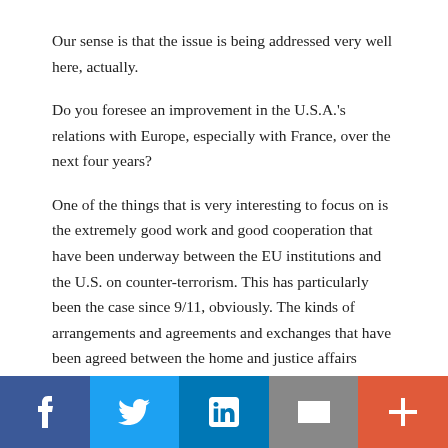Our sense is that the issue is being addressed very well here, actually.
Do you foresee an improvement in the U.S.A.'s relations with Europe, especially with France, over the next four years?
One of the things that is very interesting to focus on is the extremely good work and good cooperation that have been underway between the EU institutions and the U.S. on counter-terrorism. This has particularly been the case since 9/11, obviously. The kinds of arrangements and agreements and exchanges that have been agreed between the home and justice affairs ministers of the European Union and the United States are really terrific.
[Figure (infographic): Social media share bar with five buttons: Facebook (dark blue), Twitter (light blue), LinkedIn (medium blue), Email (grey), Plus/More (red-orange)]